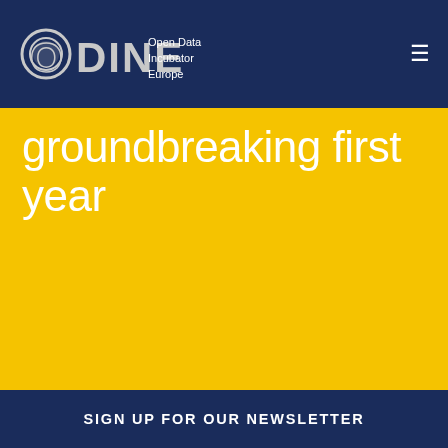ODINE Open Data Incubator Europe
groundbreaking first year
Winners of the fifth ODINE call announced
SIGN UP FOR OUR NEWSLETTER